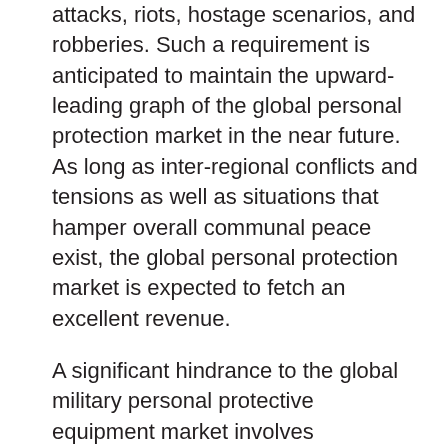attacks, riots, hostage scenarios, and robberies. Such a requirement is anticipated to maintain the upward-leading graph of the global personal protection market in the near future. As long as inter-regional conflicts and tensions as well as situations that hamper overall communal peace exist, the global personal protection market is expected to fetch an excellent revenue.
A significant hindrance to the global military personal protective equipment market involves substantial defense budget cuts being brought into effect by U.K. and the U.S. Even other developed countries as Germany and Canada are expected to change the way defense based situations are handled, which could cause a fall in the global personal protection equipment market's revenue. However, such mandates take a long time to take effect, thus providing some leeway for the market to